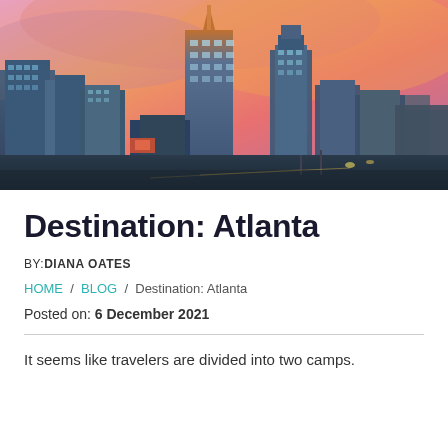[Figure (photo): Atlanta city skyline at sunset/dusk with colorful pink and orange sky, featuring tall skyscrapers including a prominent tower with an orange/copper spire in the center.]
Destination: Atlanta
BY:DIANA OATES
HOME / BLOG / Destination: Atlanta
Posted on: 6 December 2021
It seems like travelers are divided into two camps.